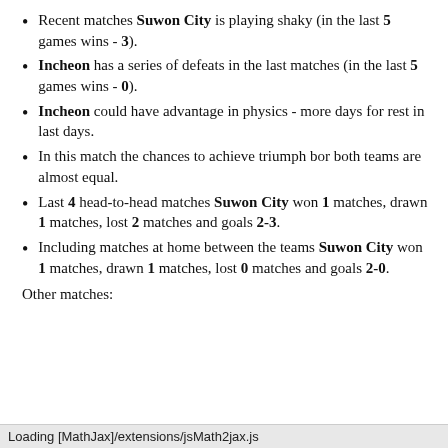Recent matches Suwon City is playing shaky (in the last 5 games wins - 3).
Incheon has a series of defeats in the last matches (in the last 5 games wins - 0).
Incheon could have advantage in physics - more days for rest in last days.
In this match the chances to achieve triumph bor both teams are almost equal.
Last 4 head-to-head matches Suwon City won 1 matches, drawn 1 matches, lost 2 matches and goals 2-3.
Including matches at home between the teams Suwon City won 1 matches, drawn 1 matches, lost 0 matches and goals 2-0.
Other matches:
Loading [MathJax]/extensions/jsMath2jax.js